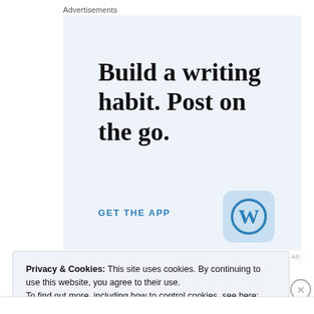Advertisements
[Figure (screenshot): WordPress app advertisement with light blue background. Large serif text reads 'Build a writing habit. Post on the go.' Blue link text says 'GET THE APP'. WordPress logo icon (blue W in circle) on light blue rounded square background on the right.]
REPORT THIS AD
Privacy & Cookies: This site uses cookies. By continuing to use this website, you agree to their use.
To find out more, including how to control cookies, see here: Cookie Policy
Close and accept